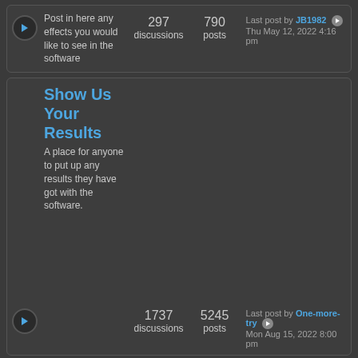Post in here any effects you would like to see in the software — 297 discussions, 790 posts. Last post by JB1982 Thu May 12, 2022 4:16 pm
Show Us Your Results
A place for anyone to put up any results they have got with the software. — 1737 discussions, 5245 posts. Last post by One-more-try Mon Aug 15, 2022 8:00 pm
Bugs
Any crashes, places where...